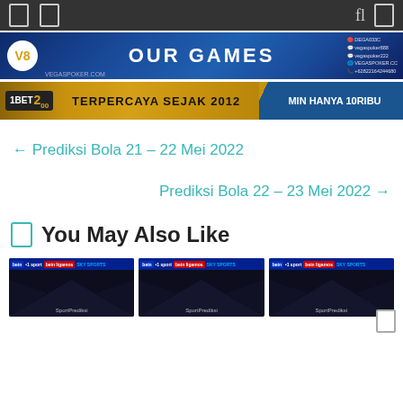[Figure (photo): V8Bets banner with blue background showing OUR GAMES text and contact info on right]
[Figure (photo): 1BET200 banner in gold/blue showing TERPERCAYA SEJAK 2012 and MIN HANYA 10RIBU]
← Prediksi Bola 21 – 22 Mei 2022
Prediksi Bola 22 – 23 Mei 2022 →
You May Also Like
[Figure (photo): Three dark thumbnail images for related posts]
[Figure (photo): Scroll button]
[Figure (photo): Scroll button right side]